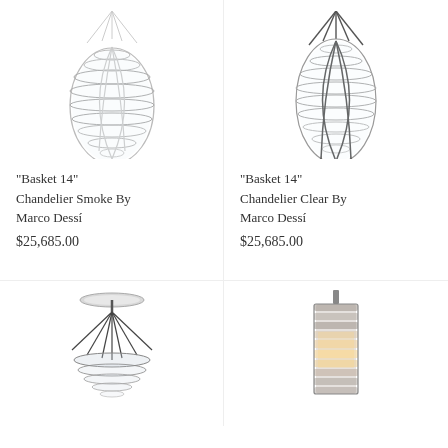[Figure (photo): Basket 14 Chandelier Smoke - glass basket-weave pendant light with white/silver frame, hanging wires]
"Basket 14" Chandelier Smoke By Marco Dessí
$25,685.00
[Figure (photo): Basket 14 Chandelier Clear - glass basket-weave pendant light with black frame, hanging wires]
"Basket 14" Chandelier Clear By Marco Dessí
$25,685.00
[Figure (photo): Chandelier viewed from below showing black wire frame and chrome ceiling plate, basket partially visible]
[Figure (photo): Cylindrical ribbed glass pendant lamp with warm light glowing inside, silver/chrome finish]